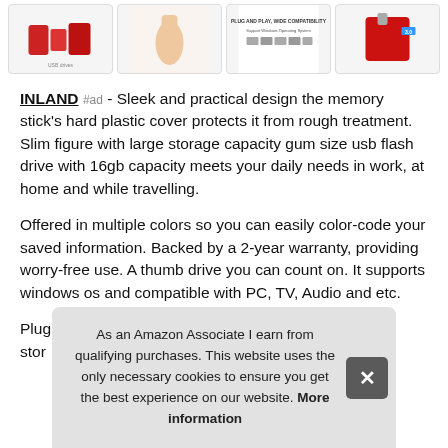[Figure (photo): Four product thumbnail images of a red USB flash drive showing different views and compatibility icons]
INLAND #ad - Sleek and practical design the memory stick's hard plastic cover protects it from rough treatment. Slim figure with large storage capacity gum size usb flash drive with 16gb capacity meets your daily needs in work, at home and while travelling.
Offered in multiple colors so you can easily color-code your saved information. Backed by a 2-year warranty, providing worry-free use. A thumb drive you can count on. It supports windows os and compatible with PC, TV, Audio and etc.
Plug
stor
As an Amazon Associate I earn from qualifying purchases. This website uses the only necessary cookies to ensure you get the best experience on our website. More information